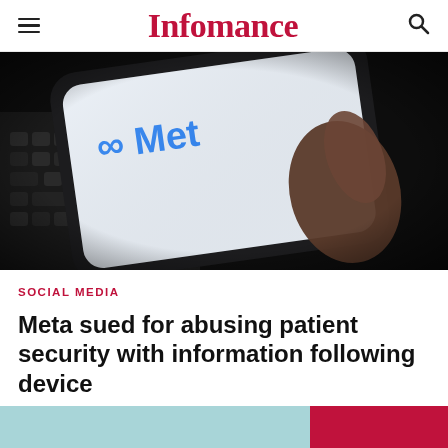Infomance
[Figure (photo): A hand holding a smartphone displaying the Meta (∞ Meta) logo on a bright white screen, set against a dark background with a keyboard visible behind it.]
SOCIAL MEDIA
Meta sued for abusing patient security with information following device
[Figure (photo): Partial bottom strip showing a teal/light blue area on the left and a red area on the right, appearing to be the top of another article image.]